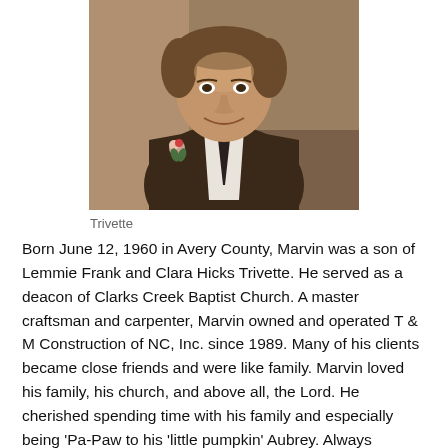[Figure (photo): Portrait photo of Marvin Trivette, a man in a brown suit jacket with a boutonniere, wearing a dark tie and white dress shirt, smiling.]
Trivette
Born June 12, 1960 in Avery County, Marvin was a son of Lemmie Frank and Clara Hicks Trivette. He served as a deacon of Clarks Creek Baptist Church. A master craftsman and carpenter, Marvin owned and operated T & M Construction of NC, Inc. since 1989. Many of his clients became close friends and were like family. Marvin loved his family, his church, and above all, the Lord. He cherished spending time with his family and especially being 'Pa-Paw to his 'little pumpkin' Aubrey. Always trustworthy and dependable, Marvin proudly treated everyone equally and